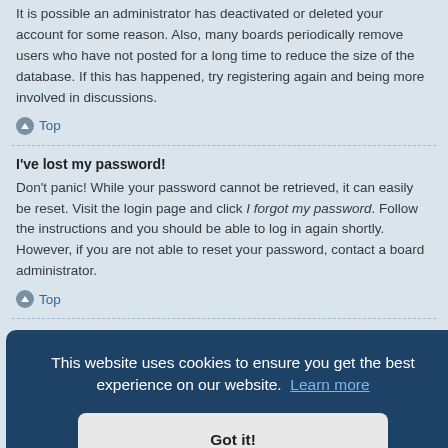It is possible an administrator has deactivated or deleted your account for some reason. Also, many boards periodically remove users who have not posted for a long time to reduce the size of the database. If this has happened, try registering again and being more involved in discussions.
↑ Top
I've lost my password!
Don't panic! While your password cannot be retrieved, it can easily be reset. Visit the login page and click I forgot my password. Follow the instructions and you should be able to log in again shortly.
However, if you are not able to reset your password, contact a board administrator.
↑ Top
Why do I get logged off automatically?
This website uses cookies to ensure you get the best experience on our website. Learn more
Got it!